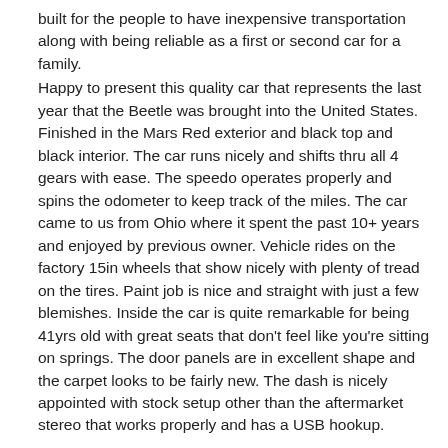built for the people to have inexpensive transportation along with being reliable as a first or second car for a family.
Happy to present this quality car that represents the last year that the Beetle was brought into the United States. Finished in the Mars Red exterior and black top and black interior. The car runs nicely and shifts thru all 4 gears with ease. The speedo operates properly and spins the odometer to keep track of the miles. The car came to us from Ohio where it spent the past 10+ years and enjoyed by previous owner. Vehicle rides on the factory 15in wheels that show nicely with plenty of tread on the tires. Paint job is nice and straight with just a few blemishes. Inside the car is quite remarkable for being 41yrs old with great seats that don't feel like you're sitting on springs. The door panels are in excellent shape and the carpet looks to be fairly new. The dash is nicely appointed with stock setup other than the aftermarket stereo that works properly and has a USB hookup.
The engine was re-configured with a EMPI carb setup from the traditional fuel injection setup and fires up with ease and performs nicely on the road. Lights, turn signals, and fuel gauge works with just the horn not working properly. Convertible top function properly and fits and is secured properly at the windshield with just a little sagging in the headliner.